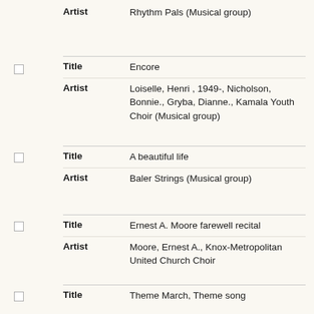| Field | Value |
| --- | --- |
| Artist | Rhythm Pals (Musical group) |
| Title | Encore |
| Artist | Loiselle, Henri , 1949-, Nicholson, Bonnie., Gryba, Dianne., Kamala Youth Choir (Musical group) |
| Title | A beautiful life |
| Artist | Baler Strings (Musical group) |
| Title | Ernest A. Moore farewell recital |
| Artist | Moore, Ernest A., Knox-Metropolitan United Church Choir |
| Title | Theme March, Theme song |